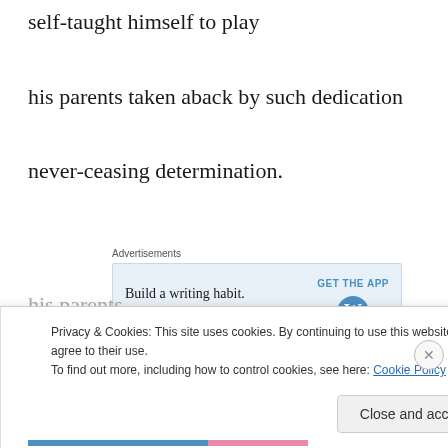self-taught himself to play
his parents taken aback by such dedication
never-ceasing determination.
[Figure (screenshot): Advertisement banner for WordPress app: 'Build a writing habit. Post on the go.' with GET THE APP button and WordPress logo]
Privacy & Cookies: This site uses cookies. By continuing to use this website, you agree to their use.
To find out more, including how to control cookies, see here: Cookie Policy
Close and accept